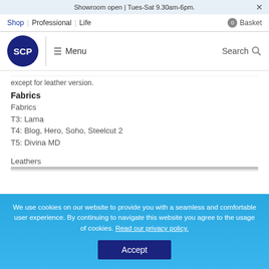Showroom open | Tues-Sat 9.30am-6pm.
Shop | Professional | Life   0 Basket
SCP  Menu  Search
except for leather version.
Fabrics
Fabrics
T3: Lama
T4: Blog, Hero, Soho, Steelcut 2
T5: Divina MD
Leathers
We use cookies on our website to provide you with a seamless and comfortable user experience. By continuing to navigate this website you agree to the usage of cookies. Read our privacy policy.